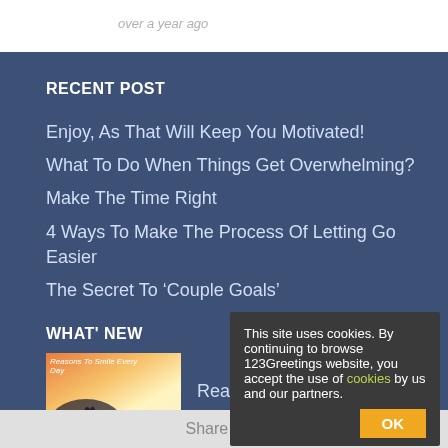over a year ago
RECENT POST
Enjoy, As That Will Keep You Motivated!
What To Do When Things Get Overwhelming?
Make The Time Right
4 Ways To Make The Process Of Letting Go Easier
The Secret To ‘Couple Goals’
WHAT' NEW
Reasons To Smile Eve
This site uses cookies. By continuing to browse 123Greetings website, you accept the use of cookies by us and our partners.
Share This